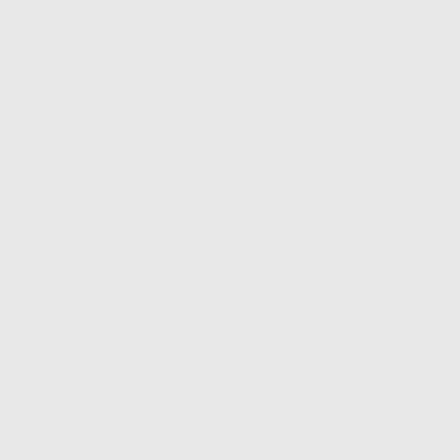delete and split topics in the fo... to prevent users from going of...
Top
» What are usergroups?
Usergroups are groups of user... board administrators can work... group can be assigned individ... administrators to change perm... moderator permissions or gra...
Top
» Where are the usergroups...
You can view all usergroups vi... If you would like to join one, pr... have open access, however. S... and some may even have hidd... by clicking the appropriate but... to join by clicking the appropri... your request and may ask wh... group leader if they reject your...
Top
» How do I become a usergr...
A usergroup leader is usually a... board administrator. If you are...